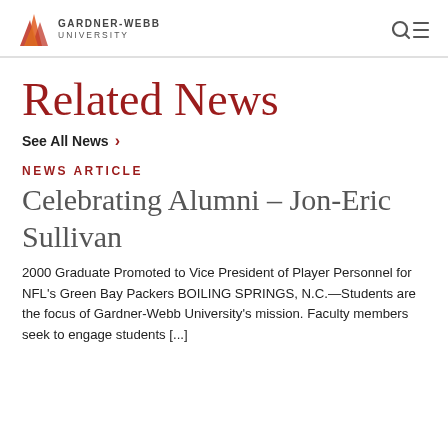GARDNER-WEBB UNIVERSITY
Related News
See All News >
NEWS ARTICLE
Celebrating Alumni – Jon-Eric Sullivan
2000 Graduate Promoted to Vice President of Player Personnel for NFL's Green Bay Packers BOILING SPRINGS, N.C.—Students are the focus of Gardner-Webb University's mission. Faculty members seek to engage students [...]